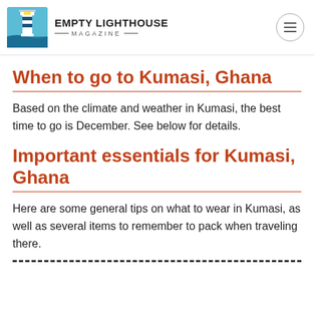Empty Lighthouse Magazine
When to go to Kumasi, Ghana
Based on the climate and weather in Kumasi, the best time to go is December. See below for details.
Important essentials for Kumasi, Ghana
Here are some general tips on what to wear in Kumasi, as well as several items to remember to pack when traveling there.